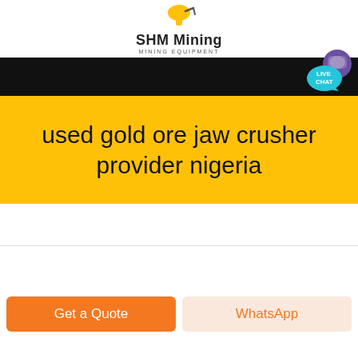[Figure (logo): SHM Mining logo with yellow excavator/mining icon, company name 'SHM Mining' in bold, subtitle 'MINING EQUIPMENT' in small caps]
[Figure (screenshot): Black navigation bar with 'LIVE CHAT' teal speech bubble button with purple chat icon in top right corner]
used gold ore jaw crusher provider nigeria
Get a Quote
WhatsApp